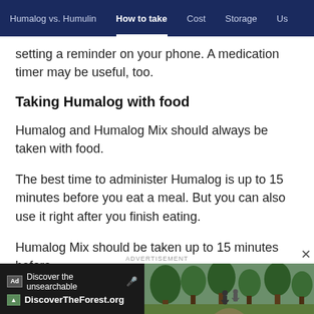Humalog vs. Humulin | How to take | Cost | Storage | Us
setting a reminder on your phone. A medication timer may be useful, too.
Taking Humalog with food
Humalog and Humalog Mix should always be taken with food.
The best time to administer Humalog is up to 15 minutes before you eat a meal. But you can also use it right after you finish eating.
Humalog Mix should be taken up to 15 minutes before
[Figure (other): Advertisement banner for DiscoverTheForest.org showing text 'Discover the unsearchable' and 'DiscoverTheForest.org' with a forest hiking photo on the right side]